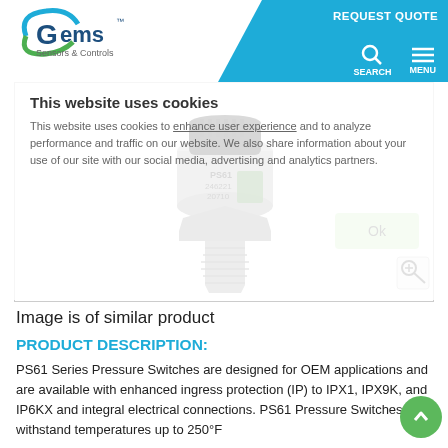Gems Sensors & Controls — REQUEST QUOTE | SEARCH | MENU
This website uses cookies — This website uses cookies to enhance user experience and to analyze performance and traffic on our website. We also share information about your use of our site with our social media, advertising and analytics partners. [Ok button]
[Figure (photo): PS61 Series Pressure Switch product photo — stainless steel pressure switch with threaded fitting and black top housing, labeled PS61 246221 20710]
Image is of similar product
PRODUCT DESCRIPTION:
PS61 Series Pressure Switches are designed for OEM applications and are available with enhanced ingress protection (IP) to IPX1, IPX9K, and IP6KX and integral electrical connections. PS61 Pressure Switches can withstand temperatures up to 250°F